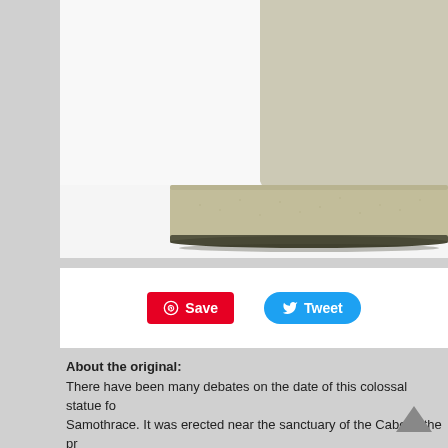[Figure (photo): Close-up photo of the base and lower robes of a cream/ivory colored classical statue (likely Nike of Samothrace replica), showing the textured rectangular base and draped fabric, on a white background.]
[Figure (screenshot): Social sharing buttons: Pinterest 'Save' button (red) and Twitter 'Tweet' button (blue)]
About the original:
There have been many debates on the date of this colossal statue fo... Samothrace. It was erected near the sanctuary of the Cabeiri, the pr... commemorate a victory of the fleet of Rhodes ; mounted on the prow... hand open, the goddess announced this victory.